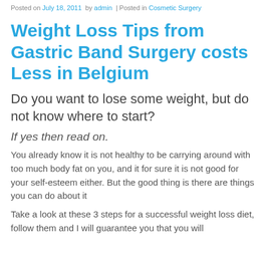Posted on July 18, 2011 by admin | Posted in Cosmetic Surgery
Weight Loss Tips from Gastric Band Surgery costs Less in Belgium
Do you want to lose some weight, but do not know where to start?
If yes then read on.
You already know it is not healthy to be carrying around with too much body fat on you, and it for sure it is not good for your self-esteem either. But the good thing is there are things you can do about it
Take a look at these 3 steps for a successful weight loss diet, follow them and I will guarantee you that you will